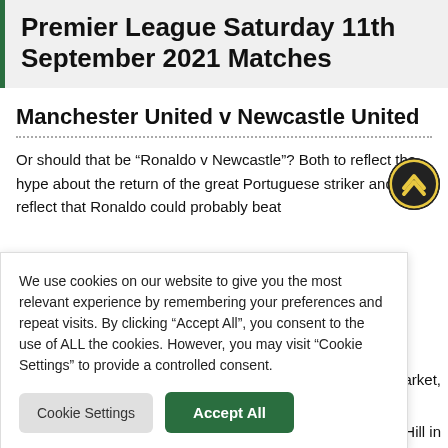Premier League Saturday 11th September 2021 Matches
Manchester United v Newcastle United
Or should that be “Ronaldo v Newcastle”? Both to reflect the hype about the return of the great Portuguese striker and to reflect that Ronaldo could probably beat
ying.
ls market, that
iam Hill in
larly interesting
ding the net.
ver 18 Goals, Premier League
We use cookies on our website to give you the most relevant experience by remembering your preferences and repeat visits. By clicking “Accept All”, you consent to the use of ALL the cookies. However, you may visit “Cookie Settings” to provide a controlled consent.
Cookie Settings | Accept All